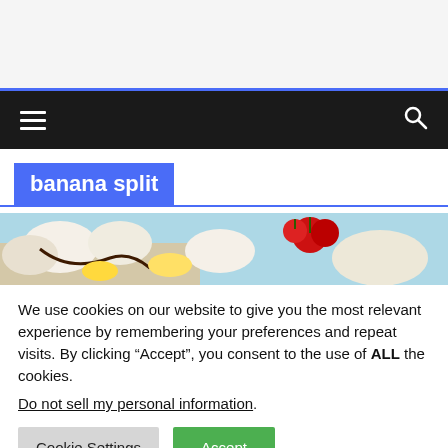[Figure (screenshot): Black navigation bar with hamburger menu icon on left and search icon on right]
banana split
[Figure (photo): A banana split dessert with whipped cream, cherries, and chocolate sauce on a light blue background]
We use cookies on our website to give you the most relevant experience by remembering your preferences and repeat visits. By clicking “Accept”, you consent to the use of ALL the cookies.
Do not sell my personal information.
Cookie Settings  Accept